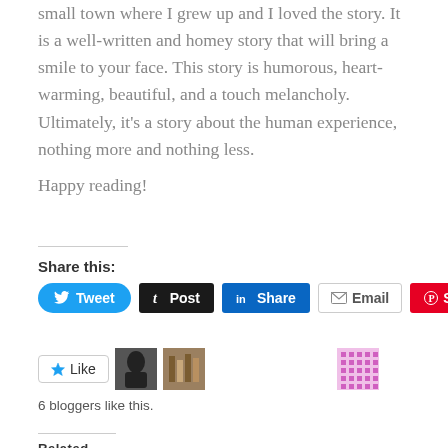small town where I grew up and I loved the story. It is a well-written and homey story that will bring a smile to your face. This story is humorous, heart-warming, beautiful, and a touch melancholy. Ultimately, it's a story about the human experience, nothing more and nothing less.
Happy reading!
Share this:
[Figure (other): Social sharing buttons: Tweet (Twitter/blue), Post (Tumblr/dark), Share (LinkedIn/blue), Email (grey border), Save (Pinterest/red)]
[Figure (other): Like button with star icon, two avatar thumbnail images, one pink patterned avatar thumbnail, label '6 bloggers like this.']
6 bloggers like this.
Related
Review: Ready Player One By Ernest Cline
Book Review: Over the Woodward Wall by A. Deborah